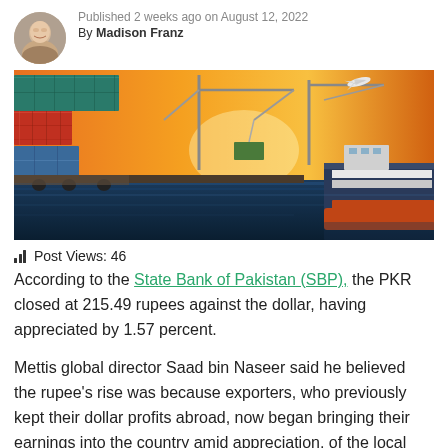Published 2 weeks ago on August 12, 2022
By Madison Franz
[Figure (photo): A shipping port at sunset with colorful stacked cargo containers, cranes, a large cargo ship, and an airplane flying overhead against a vivid orange sky.]
Post Views: 46
According to the State Bank of Pakistan (SBP), the PKR closed at 215.49 rupees against the dollar, having appreciated by 1.57 percent.
Mettis global director Saad bin Naseer said he believed the rupee's rise was because exporters, who previously kept their dollar profits abroad, now began bringing their earnings into the country amid appreciation, of the local